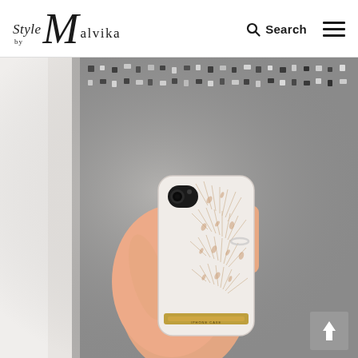Style by Malvika — Search [navigation menu]
[Figure (photo): A hand holding an iPhone X with a white and rose gold patterned phone case, with a sparkly tweed handbag in the background.]